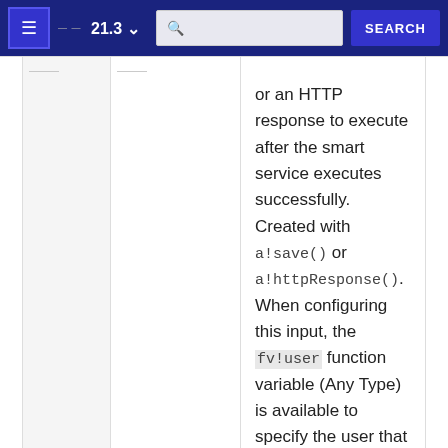21.3
or an HTTP response to execute after the smart service executes successfully. Created with a!save() or a!httpResponse(). When configuring this input, the fv!user function variable (Any Type) is available to specify the user that...